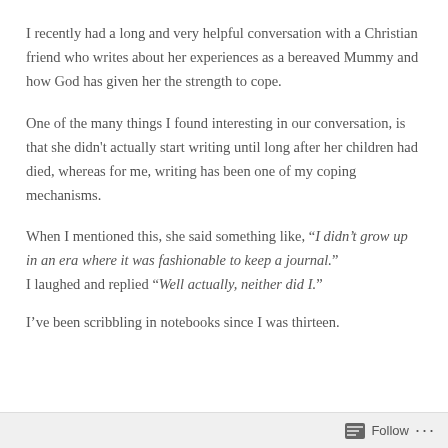I recently had a long and very helpful conversation with a Christian friend who writes about her experiences as a bereaved Mummy and how God has given her the strength to cope.
One of the many things I found interesting in our conversation, is that she didn't actually start writing until long after her children had died, whereas for me, writing has been one of my coping mechanisms.
When I mentioned this, she said something like, “I didn’t grow up in an era where it was fashionable to keep a journal.”
I laughed and replied “Well actually, neither did I.”
I’ve been scribbling in notebooks since I was thirteen.
Follow